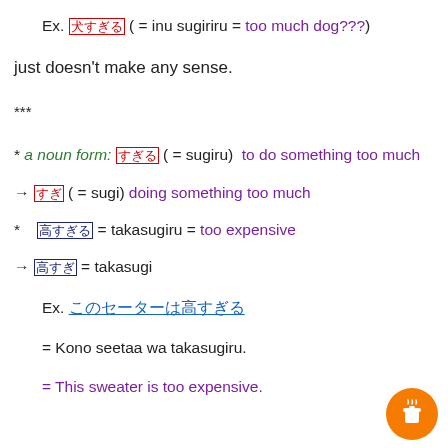Ex. 犬すぎる ( = inu sugiriru = too much dog???)
just doesn't make any sense.
***
* a noun form: すぎる ( = sugiru)  to do something too much
→ すぎ ( = sugi) doing something too much
* 高すぎる = takasugiru = too expensive
→ 高すぎ = takasugi
Ex. このセーターは高すぎる
= Kono seetaa wa takasugiru.
= This sweater is too expensive.